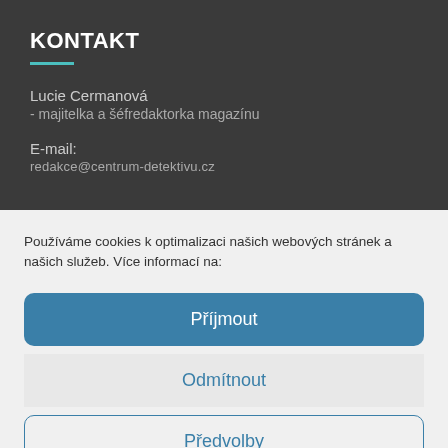KONTAKT
Lucie Cermanová
- majitelka a šéfredaktorka magazínu
E-mail:
redakce@centrum-detektivu.cz
Používáme cookies k optimalizaci našich webových stránek a našich služeb. Více informací na:
Příjmout
Odmítnout
Předvolby